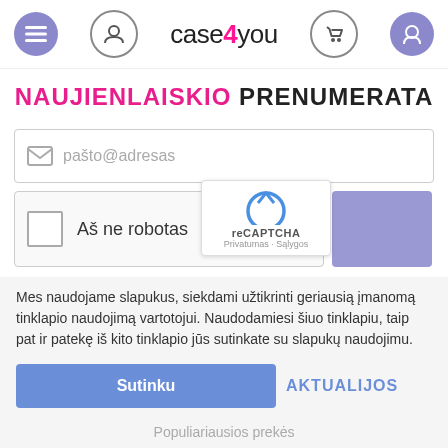[Figure (screenshot): case4you website header with navigation icons (hamburger menu, user, phone, cart) and logo]
NAUJIENLAISKIO PRENUMERATA
[Figure (screenshot): Email input field with placeholder text 'pašto@adresas' and envelope icon]
[Figure (screenshot): reCAPTCHA widget with checkbox 'Aš ne robotas' and reCAPTCHA badge showing 'Privatumas - Sąlygos']
Mes naudojame slapukus, siekdami užtikrinti geriausią įmanomą tinklapio naudojimą vartotojui. Naudodamiesi šiuo tinklapiu, taip pat ir patekę iš kito tinklapio jūs sutinkate su slapukų naudojimu.
Sutinku   AKTUALIJOS
Populiariausios prekės